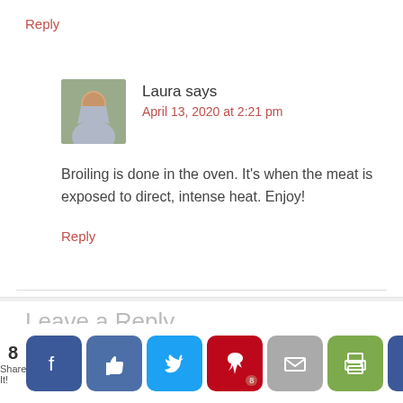Reply
Laura says
April 13, 2020 at 2:21 pm
Broiling is done in the oven. It’s when the meat is exposed to direct, intense heat. Enjoy!
Reply
Leave a Reply
[Figure (infographic): Social share bar with count of 8, Facebook, Like, Twitter, Pinterest (with badge 8), Mail, Print, and Crown buttons]